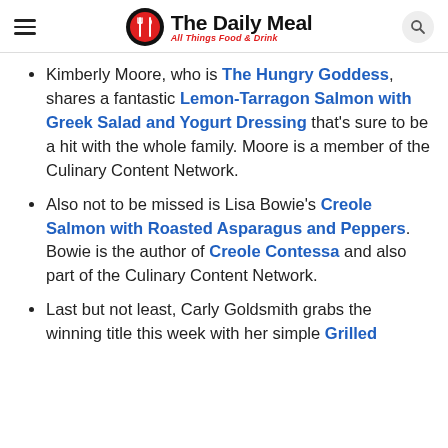The Daily Meal — All Things Food & Drink
Kimberly Moore, who is The Hungry Goddess, shares a fantastic Lemon-Tarragon Salmon with Greek Salad and Yogurt Dressing that's sure to be a hit with the whole family. Moore is a member of the Culinary Content Network.
Also not to be missed is Lisa Bowie's Creole Salmon with Roasted Asparagus and Peppers. Bowie is the author of Creole Contessa and also part of the Culinary Content Network.
Last but not least, Carly Goldsmith grabs the winning title this week with her simple Grilled